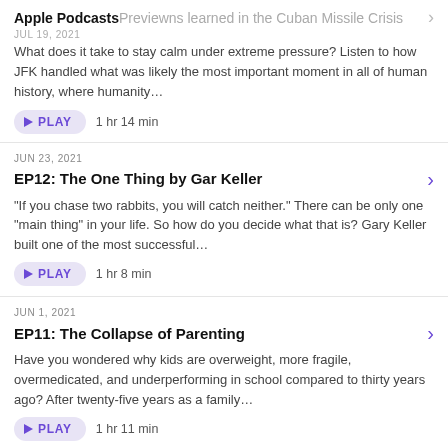Apple Podcasts Preview
JUL 19, 2021 — lessons learned in the Cuban Missile Crisis (partial, truncated)
What does it take to stay calm under extreme pressure? Listen to how JFK handled what was likely the most important moment in all of human history, where humanity…
PLAY  1 hr 14 min
JUN 23, 2021
EP12: The One Thing by Gar Keller
"If you chase two rabbits, you will catch neither." There can be only one "main thing" in your life. So how do you decide what that is? Gary Keller built one of the most successful…
PLAY  1 hr 8 min
JUN 1, 2021
EP11: The Collapse of Parenting
Have you wondered why kids are overweight, more fragile, overmedicated, and underperforming in school compared to thirty years ago? After twenty-five years as a family…
PLAY  1 hr 11 min